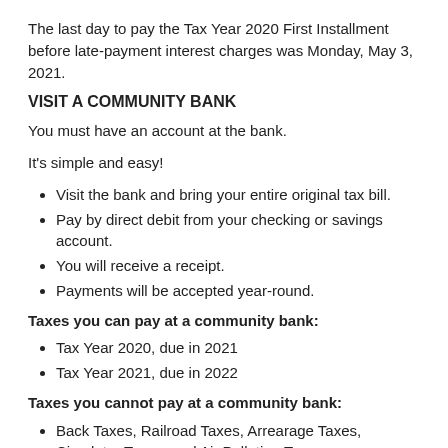The last day to pay the Tax Year 2020 First Installment before late-payment interest charges was Monday, May 3, 2021.
VISIT A COMMUNITY BANK
You must have an account at the bank.
It's simple and easy!
Visit the bank and bring your entire original tax bill.
Pay by direct debit from your checking or savings account.
You will receive a receipt.
Payments will be accepted year-round.
Taxes you can pay at a community bank:
Tax Year 2020, due in 2021
Tax Year 2021, due in 2022
Taxes you cannot pay at a community bank:
Back Taxes, Railroad Taxes, Arrearage Taxes, Circulator Taxes, and Air Pollution Taxes